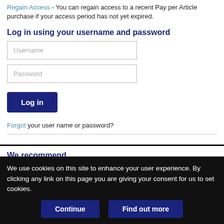Regain Access - You can regain access to a recent Pay per Article purchase if your access period has not yet expired.
Log in using your username and password
Username
Password
Log in
Forgot your user name or password?
We recommend
We use cookies on this site to enhance your user experience. By clicking any link on this page you are giving your consent for us to set cookies.
Continue
Find out more